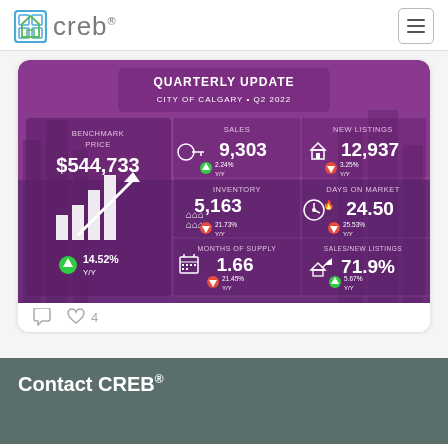creb®
[Figure (infographic): CREB Quarterly Update infographic for City of Calgary Q2 2022. Shows: Benchmark Price $544,733 up 14.52% Y/Y; Sales 9,303 up 2.24% Y/Y; New Listings 12,937 down 3.25% Y/Y; Inventory 5,163 down 21.73% Y/Y; Days on Market 24.50 down 25.53% Y/Y; Months of Supply 1.66 down 21.45% Y/Y; Sales/New Listings 71.9% up 5.67% Y/Y]
♡ 4
Contact CREB®